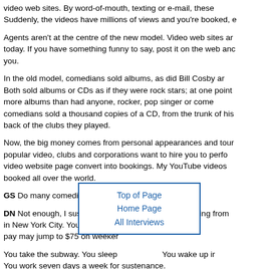video web sites. By word-of-mouth, texting or e-mail, these videos spread. Suddenly, the videos have millions of views and you're booked, e
Agents aren't at the centre of the new model. Video web sites are the agents today. If you have something funny to say, post it on the web and they'll find you.
In the old model, comedians sold albums, as did Bill Cosby and Steve Martin. Both sold albums or CDs as if they were rock stars; at one point, Steve Martin sold more albums than had anyone, rocker, pop singer or comedian. One of the comedians sold a thousand copies of a CD, from the trunk of his car and from the back of the clubs they played.
Now, the big money comes from personal appearances and touring. If you have a popular video, clubs and corporations want to hire you to perform. Views on your video website page convert into bookings. My YouTube videos have gotten me booked all over the world.
GS Do many comedians work the new model, today?
DN Not enough, I suspect. It se [Top of Page / Home Page / All Interviews] l, roaming from in New York City. You do twent Sunday throu pay may jump to $75 on weeken
[Figure (other): Navigation box with blue border and links: Top of Page, Home Page, All Interviews]
You take the subway. You sleep [obscured] You wake up i You work seven days a week for sustenance.